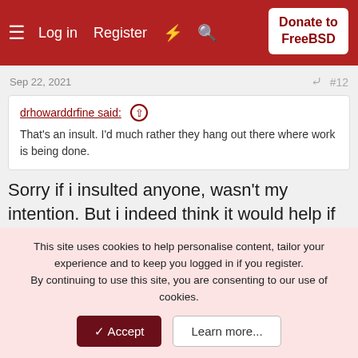≡  Log in  Register  ⚡  🔍  Donate to FreeBSD
Sep 22, 2021   #12
drhowarddrfine said: ↑  That's an insult. I'd much rather they hang out there where work is being done.
Sorry if i insulted anyone, wasn't my intention. But i indeed think it would help if more developers would show up and help newbies getting started with FreeBSD.
richardtoohey2
This site uses cookies to help personalise content, tailor your experience and to keep you logged in if you register.
By continuing to use this site, you are consenting to our use of cookies.